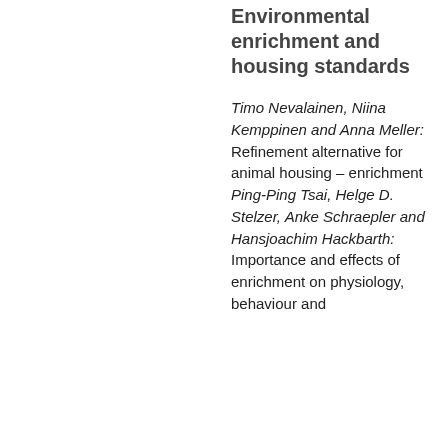Environmental enrichment and housing standards
Timo Nevalainen, Niina Kemppinen and Anna Meller: Refinement alternative for animal housing – enrichment Ping-Ping Tsai, Helge D. Stelzer, Anke Schraepler and Hansjoachim Hackbarth: Importance and effects of enrichment on physiology, behaviour and